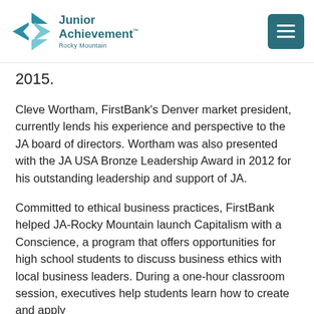Junior Achievement™ Rocky Mountain
2015.
Cleve Wortham, FirstBank's Denver market president, currently lends his experience and perspective to the JA board of directors. Wortham was also presented with the JA USA Bronze Leadership Award in 2012 for his outstanding leadership and support of JA.
Committed to ethical business practices, FirstBank helped JA-Rocky Mountain launch Capitalism with a Conscience, a program that offers opportunities for high school students to discuss business ethics with local business leaders. During a one-hour classroom session, executives help students learn how to create and apply